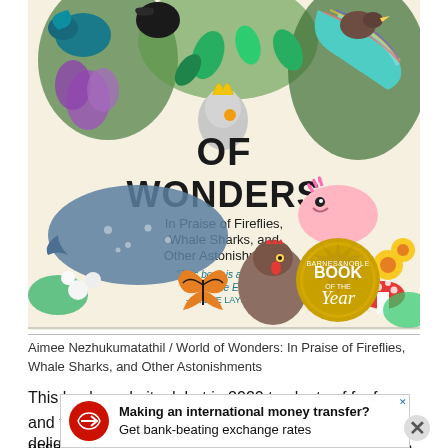[Figure (illustration): Book cover of 'World of Wonders: In Praise of Fireflies, Whale Sharks, and Other Astonishments' by Aimee Nezhukumatathil. Cover shows colorful illustrated animals and plants (birds, axolotl, butterfly, whale shark, hen, flowers) on a light background with bold text. Features a Barnes & Noble Book of the Year gold medallion. Includes quote 'This book is about to shake the Earth.' —KIESE LAYMON]
Aimee Nezhukumatathil / World of Wonders: In Praise of Fireflies, Whale Sharks, and Other Astonishments
This book made its debut in 2020 to plenty of fanfare, and for good reason! It's a stunning collection of essays and illustrations that spark that romantic sense of wonder and delight springti